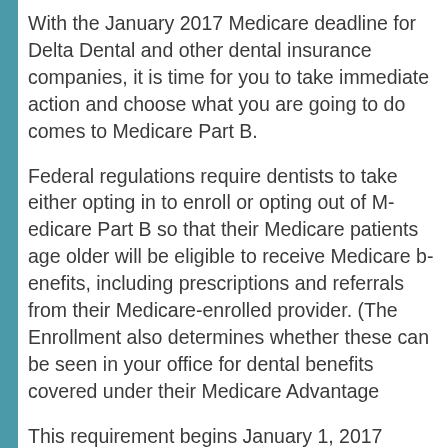With the January 2017 Medicare deadline for Delta Dental and other dental insurance companies, it is time for you to take immediate action and choose what you are going to do comes to Medicare Part B.
Federal regulations require dentists to take either opting in to enroll or opting out of Medicare Part B so that their Medicare patients age older will be eligible to receive Medicare benefits, including prescriptions and referrals from their Medicare-enrolled provider. (The Enrollment also determines whether these can be seen in your office for dental benefits covered under their Medicare Advantage
This requirement begins January 1, 2017 recently, this requirement was scheduled February 1, 2017, but many dental insur